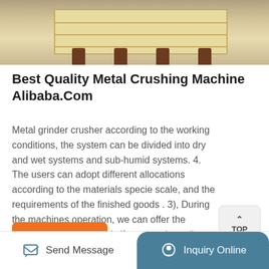[Figure (photo): Photo of a metal crushing machine or wooden crate on legs, showing industrial equipment on a concrete floor]
Best Quality Metal Crushing Machine Alibaba.Com
Metal grinder crusher according to the working conditions, the system can be divided into dry and wet systems and sub-humid systems. 4. The users can adopt different allocations according to the materials specie scale, and the requirements of the finished goods . 3), During the machines operation, we can offer the technology service freely if you need to adjust the layout and application
Get Price
Send Message   Inquiry Online